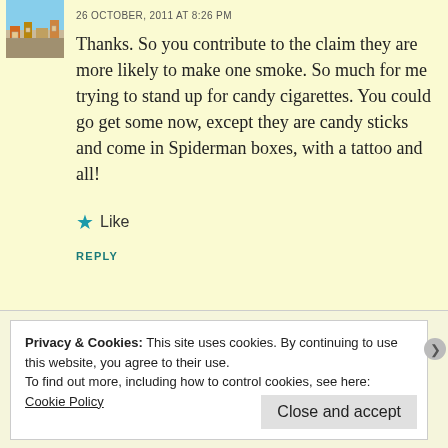[Figure (photo): Small square avatar photo showing a cityscape with rooftops and buildings, blue sky.]
26 OCTOBER, 2011 AT 8:26 PM
Thanks. So you contribute to the claim they are more likely to make one smoke. So much for me trying to stand up for candy cigarettes. You could go get some now, except they are candy sticks and come in Spiderman boxes, with a tattoo and all!
★ Like
REPLY
Privacy & Cookies: This site uses cookies. By continuing to use this website, you agree to their use.
To find out more, including how to control cookies, see here:
Cookie Policy
Close and accept